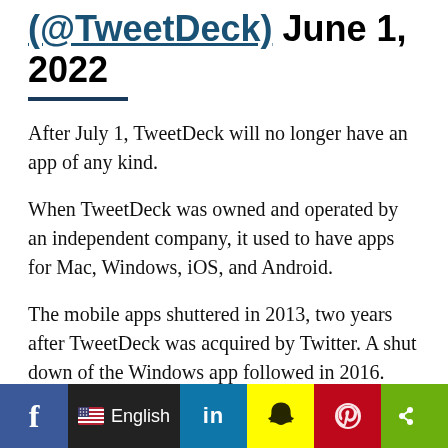(@TweetDeck) June 1, 2022
After July 1, TweetDeck will no longer have an app of any kind.
When TweetDeck was owned and operated by an independent company, it used to have apps for Mac, Windows, iOS, and Android.
The mobile apps shuttered in 2013, two years after TweetDeck was acquired by Twitter. A shut down of the Windows app followed in 2016.
TweetDeck for Mac held on the longest, likely due to its devoted fanbase, but now its time has come too.
f  English  in  [Snapchat]  [Pinterest]  [Share]